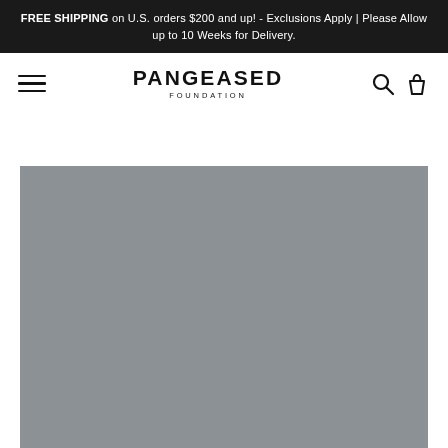FREE SHIPPING on U.S. orders $200 and up! - Exclusions Apply | Please Allow up to 10 Weeks for Delivery.
[Figure (logo): Pangeased Foundation logo with hamburger menu, search icon, and shopping bag icon in header navigation]
[Figure (photo): Large gray hero image placeholder covering most of the page below the header]